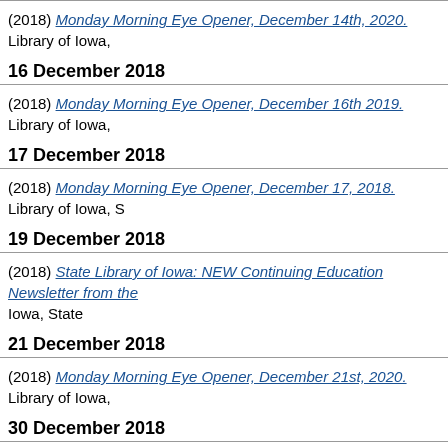(2018) Monday Morning Eye Opener, December 14th, 2020. Library of Iowa,
16 December 2018
(2018) Monday Morning Eye Opener, December 16th 2019. Library of Iowa,
17 December 2018
(2018) Monday Morning Eye Opener, December 17, 2018. Library of Iowa, S
19 December 2018
(2018) State Library of Iowa: NEW Continuing Education Newsletter from the Iowa, State
21 December 2018
(2018) Monday Morning Eye Opener, December 21st, 2020. Library of Iowa,
30 December 2018
(2018) Monday Morning Eye Opener, December 30th 2019. Library of Iowa,